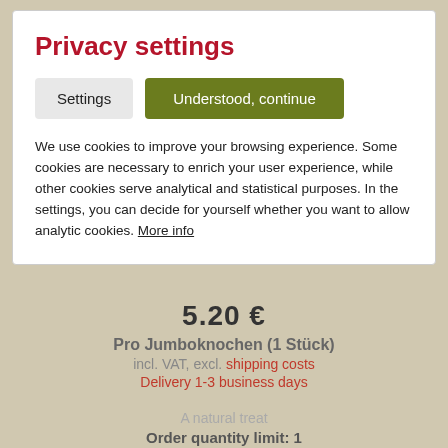Privacy settings
Settings  Understood, continue
We use cookies to improve your browsing experience. Some cookies are necessary to enrich your user experience, while other cookies serve analytical and statistical purposes. In the settings, you can decide for yourself whether you want to allow analytic cookies. More info
5.20 €
Pro Jumboknochen (1 Stück)
incl. VAT, excl. shipping costs
Delivery 1-3 business days
A natural treat
Order quantity limit: 1